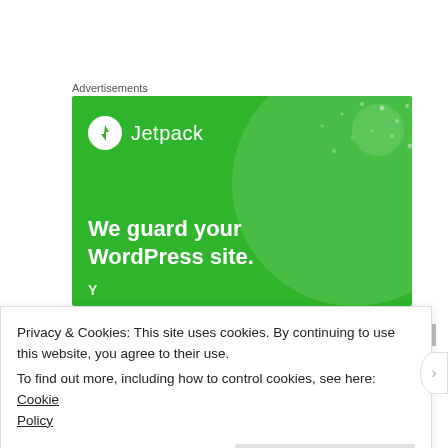Advertisements
[Figure (illustration): Jetpack advertisement banner on green background with white bold text: 'We guard your WordPress site.' with Jetpack logo at top left (white circle with lightning bolt icon and 'Jetpack' text). Decorative circles and dots in background.]
CHRISTINE DAVIS SAYS:
MARCH 3, 2006 AT 8:03 AM
Privacy & Cookies: This site uses cookies. By continuing to use this website, you agree to their use.
To find out more, including how to control cookies, see here: Cookie Policy
Close and accept